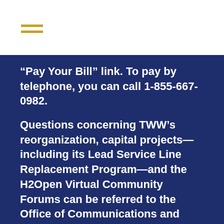“Pay Your Bill” link. To pay by telephone, you can call 1-855-667-0982.
Questions concerning TWW’s reorganization, capital projects—including its Lead Service Line Replacement Program—and the H2Open Virtual Community Forums can be referred to the Office of Communications and Community Relations, at (609) 989-3033.
Powered by WPeMatico